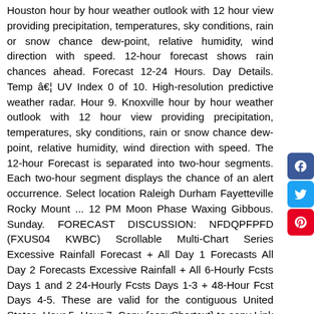Houston hour by hour weather outlook with 12 hour view providing precipitation, temperatures, sky conditions, rain or snow chance dew-point, relative humidity, wind direction with speed. 12-hour forecast shows rain chances ahead. Forecast 12-24 Hours. Day Details. Temp â€¦ UV Index 0 of 10. High-resolution predictive weather radar. Hour 9. Knoxville hour by hour weather outlook with 12 hour view providing precipitation, temperatures, sky conditions, rain or snow chance dew-point, relative humidity, wind direction with speed. The 12-hour Forecast is separated into two-hour segments. Each two-hour segment displays the chance of an alert occurrence. Select location Raleigh Durham Fayetteville Rocky Mount ... 12 PM Moon Phase Waxing Gibbous. Sunday. FORECAST DISCUSSION: NFDQPFPFD (FXUS04 KWBC) Scrollable Multi-Chart Series Excessive Rainfall Forecast + All Day 1 Forecasts All Day 2 Forecasts Excessive Rainfall + All 6-Hourly Fcsts Days 1 and 2 24-Hourly Fcsts Days 1-3 + 48-Hour Fcst Days 4-5. These are valid for the contiguous United States. Hour 5. Hour 7. Copy {copyShortcut} to copy Link copied! Cloudy. Hour 8. FLINT, Mich. (WJRT) - It was a gray day to kick off our weekend. Hour 2. Sun. These images are taken in the infrared band of light and show relative warmth of objects. Humidity 86%. West winds around 10 mph. Get the Newburgh, NY local hourly forecast including temperature, RealFeel, and chance of precipitation. ... Load Next 12 Hours. 45° 5%. Sunny. 27° Clear Hourly. hourly forecast, current weather conditions, closures and alerts for the Milwaukee metro area. Midwest Temps.
[Figure (other): Social media sharing icons: Facebook (blue), Twitter (light blue), Pinterest (red)]